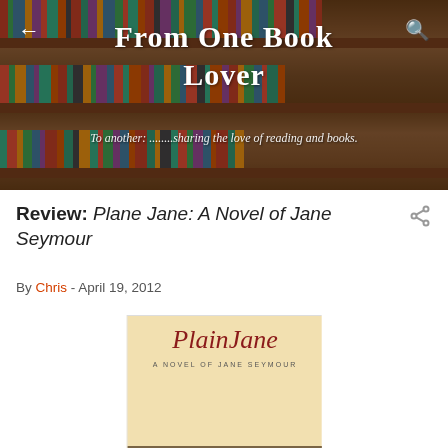[Figure (screenshot): Blog header banner showing a colorful bookshelf background with the blog title 'From One Book Lover' in white handwritten-style font, subtitle 'To another: ........sharing the love of reading and books.', back arrow on left and search icon on right]
Review: Plane Jane: A Novel of Jane Seymour
By Chris - April 19, 2012
[Figure (photo): Book cover of 'Plain Jane: A Novel of Jane Seymour' showing the title in red italic script on a cream background, with a historical painting of figures below]